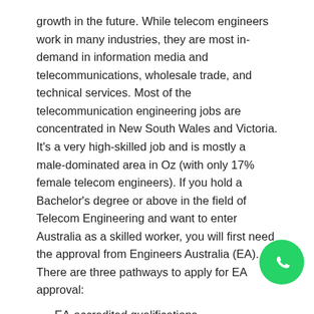growth in the future. While telecom engineers work in many industries, they are most in-demand in information media and telecommunications, wholesale trade, and technical services. Most of the telecommunication engineering jobs are concentrated in New South Wales and Victoria. It's a very high-skilled job and is mostly a male-dominated area in Oz (with only 17% female telecom engineers). If you hold a Bachelor's degree or above in the field of Telecom Engineering and want to enter Australia as a skilled worker, you will first need the approval from Engineers Australia (EA). There are three pathways to apply for EA approval:
EA-accredited qualifications,
Completing your tertiary education from the countries that are full signatories of Dublin, Washington, or Sydney Accord, and
The CDR or Competency Demonstration Report.
The EA prescribes the CDR format which has different